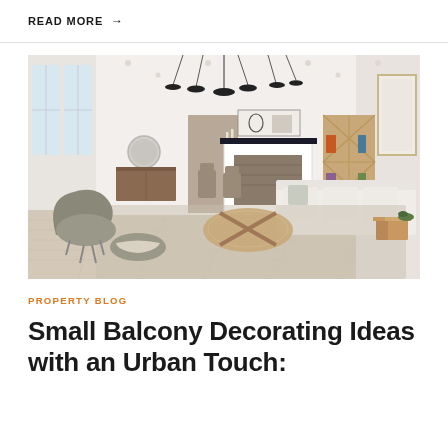READ MORE →
[Figure (photo): Bright modern mid-century interior living room with white sectional sofa, wooden accent chairs, a fireplace with black mantel, abstract art above mantel, geometric wood bookshelf, pendant lights, and a womb chair with ottoman in the foreground]
PROPERTY BLOG
Small Balcony Decorating Ideas with an Urban Touch: